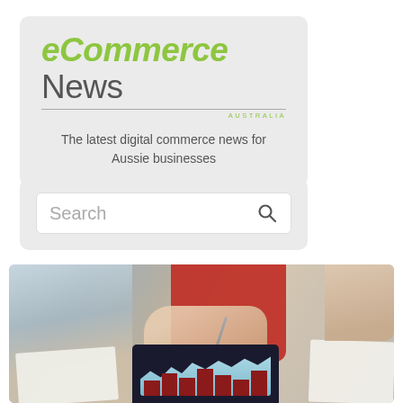[Figure (logo): eCommerce News Australia logo with tagline 'The latest digital commerce news for Aussie businesses' on a light grey rounded rectangle background]
[Figure (other): Search bar widget with placeholder text 'Search' and a search icon, on a light grey rounded rectangle background]
[Figure (photo): Photo of people at a desk, one person in a red jacket holding a stylus over a tablet displaying a bar chart, with papers and hands visible]